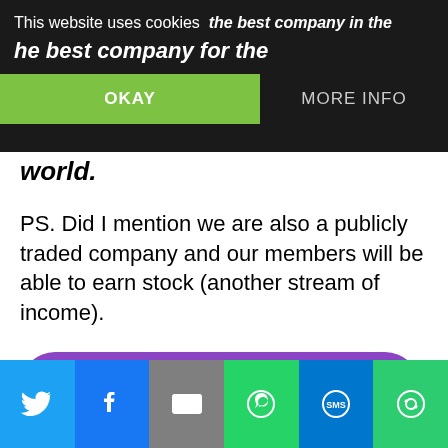This website uses cookies | OKAY | MORE INFO
the best company in the
he best company for the world.
PS. Did I mention we are also a publicly traded company and our members will be able to earn stock (another stream of income).
[Figure (other): Purple rounded button with text JOIN YEP HERE]
When you click that button you will have the opportunity to watch a video to hear more about YEP and how it can help you build and/or scale your
Social share bar: Twitter, Facebook, Email, WhatsApp, SMS, Other